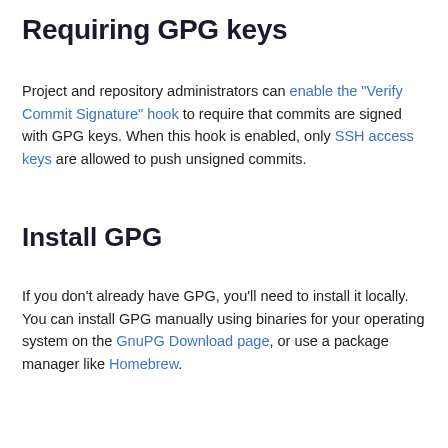Requiring GPG keys
Project and repository administrators can enable the "Verify Commit Signature" hook to require that commits are signed with GPG keys. When this hook is enabled, only SSH access keys are allowed to push unsigned commits.
Install GPG
If you don't already have GPG, you'll need to install it locally. You can install GPG manually using binaries for your operating system on the GnuPG Download page, or use a package manager like Homebrew.
Check for existing GPG keys
If you're not sure if you have a GPG key already, you can check for existing GPG keys locally.